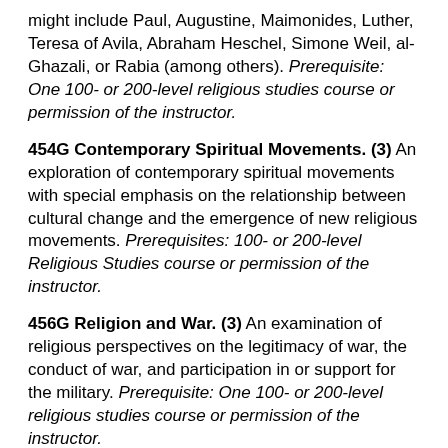might include Paul, Augustine, Maimonides, Luther, Teresa of Avila, Abraham Heschel, Simone Weil, al-Ghazali, or Rabia (among others). Prerequisite: One 100- or 200-level religious studies course or permission of the instructor.
454G Contemporary Spiritual Movements. (3) An exploration of contemporary spiritual movements with special emphasis on the relationship between cultural change and the emergence of new religious movements. Prerequisites: 100- or 200-level Religious Studies course or permission of the instructor.
456G Religion and War. (3) An examination of religious perspectives on the legitimacy of war, the conduct of war, and participation in or support for the military. Prerequisite: One 100- or 200-level religious studies course or permission of the instructor.
464G (cross-listed with SOC 464G) Sociology of Religion.